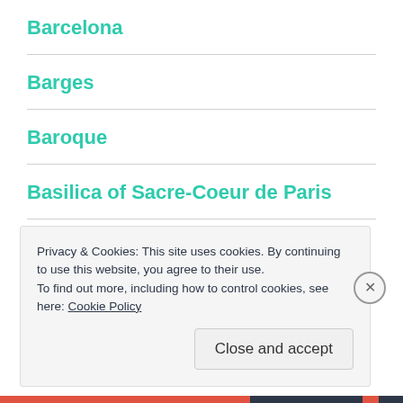Barcelona
Barges
Baroque
Basilica of Sacre-Coeur de Paris
Bath
Beach
Privacy & Cookies: This site uses cookies. By continuing to use this website, you agree to their use.
To find out more, including how to control cookies, see here: Cookie Policy
Close and accept